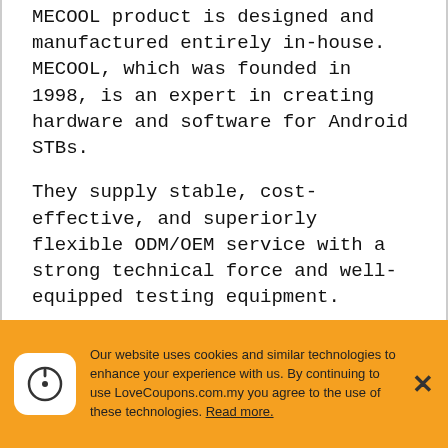MECOOL product is designed and manufactured entirely in-house. MECOOL, which was founded in 1998, is an expert in creating hardware and software for Android STBs.
They supply stable, cost-effective, and superiorly flexible ODM/OEM service with a strong technical force and well-equipped testing equipment.
Here at LoveCoupons.com.my, we like to save you money wherever we can. So that's why we search and collect all the latest money-saving coupon codes, promotional codes, discount codes and deals for MECOOL we can find.
Our website uses cookies and similar technologies to enhance your experience with us. By continuing to use LoveCoupons.com.my you agree to the use of these technologies. Read more.